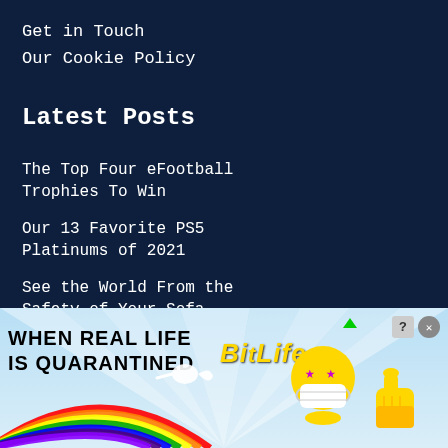Get in Touch
Our Cookie Policy
Latest Posts
The Top Four eFootball Trophies To Win
Our 13 Favorite PS5 Platinums of 2021
See the World From the Safety of Your Sofa
Quick and Easy Platinum Trophies
6 Platinum Trophies to Get on
[Figure (infographic): BitLife advertisement banner with rainbow, text 'WHEN REAL LIFE IS QUARANTINED', BitLife logo, sperm icon, and cartoon emojis with face mask and thumbs up]